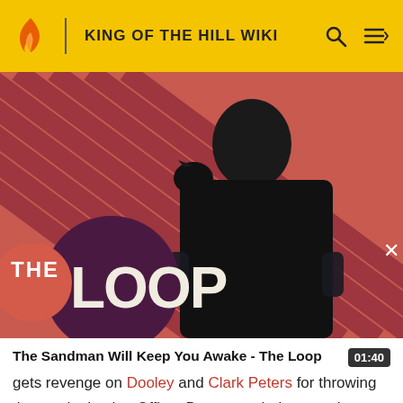KING OF THE HILL WIKI
[Figure (screenshot): Banner image showing 'The Loop' – a person dressed in black with a raven on their shoulder, against a red diagonal stripe background. Overlay text reads 'THE LOOP' with a dark purple circle behind it.]
The Sandman Will Keep You Awake - The Loop
gets revenge on Dooley and Clark Peters for throwing the can by having Officer Brown catch them cutting class at Whataburger.
Hank, Bill and Boomhauer try to return the wallet to